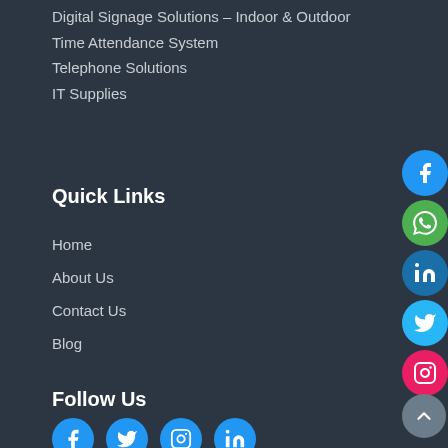Digital Signage Solutions – Indoor & Outdoor
Time Attendance System
Telephone Solutions
IT Supplies
Quick Links
Home
About Us
Contact Us
Blog
Follow Us
[Figure (infographic): Social media icons: Facebook, Twitter, Instagram, LinkedIn (blue circles) at bottom; Facebook, WhatsApp, LinkedIn, Twitter, Instagram floating on right side; scroll-to-top arrow button at bottom right]